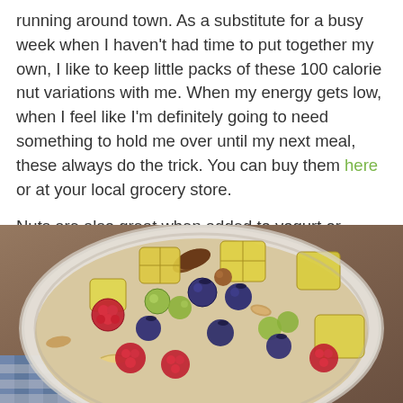running around town. As a substitute for a busy week when I haven't had time to put together my own, I like to keep little packs of these 100 calorie nut variations with me. When my energy gets low, when I feel like I'm definitely going to need something to hold me over until my next meal, these always do the trick. You can buy them here or at your local grocery store.
Nuts are also great when added to yogurt or cereal in the morning. Just a sprinkle of any of the above
[Figure (photo): A white bowl filled with a colorful mix of fruits and nuts including blueberries, raspberries, green grapes, pineapple chunks, pecans, almonds, and cashews, placed on a blue and white checkered cloth]